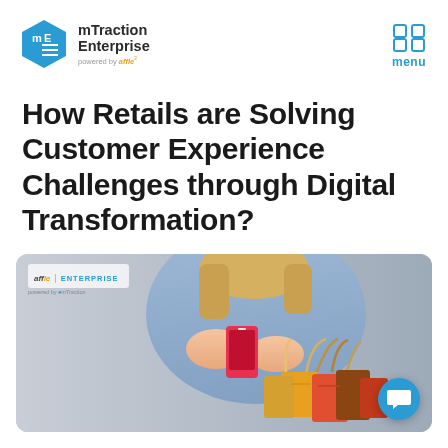mTraction Enterprise powered by affle | menu
How Retails are Solving Customer Experience Challenges through Digital Transformation?
[Figure (photo): Hero image showing a woman holding a smartphone and colorful shopping bags, with affle ENTERPRISE logo overlay in top-left and a chat button in bottom-right corner.]